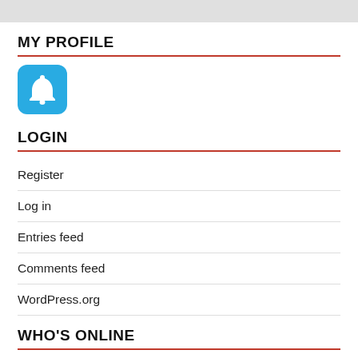MY PROFILE
[Figure (logo): Blue rounded square icon with white bell/notification symbol (Growl-style notification icon)]
LOGIN
Register
Log in
Entries feed
Comments feed
WordPress.org
WHO'S ONLINE
7 visitors online now